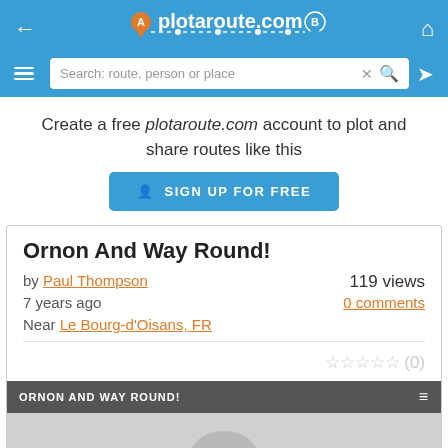plotaroute.com
Create a free plotaroute.com account to plot and share routes like this
SIGN UP FOR FREE
Ornon And Way Round!
by Paul Thompson
7 years ago
Near Le Bourg-d'Oisans, FR
119 views
0 comments
☆☆☆☆☆ (0)
[Figure (screenshot): Map preview panel with dark header bar showing 'ORNON AND WAY ROUND!' and a grey map area below]